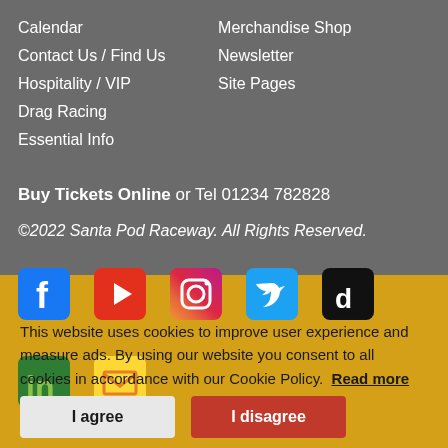Calendar
Contact Us / Find Us
Hospitality / VIP
Drag Racing
Essential Info
Merchandise Shop
Newsletter
Site Pages
Buy Tickets Online or Tel 01234 782828
©2022 Santa Pod Raceway. All Rights Reserved.
[Figure (infographic): Social media icon buttons: Facebook, YouTube, Instagram, Twitter, TikTok, LinkedIn, Email/Newsletter]
This website uses cookies to improve user experience and measure ads. By using our website you consent to all cookies in accordance with our Cookie Policy. Read more
I agree
I disagree